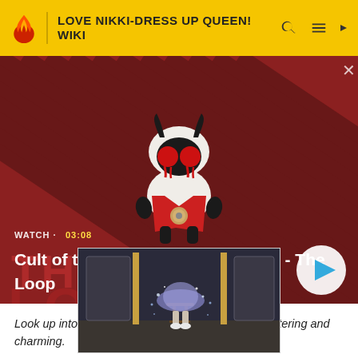LOVE NIKKI-DRESS UP QUEEN! WIKI
[Figure (screenshot): Video banner with diagonal red and dark stripe background, a cartoon lamb character with red eyes floating in the center. Text overlay: 'WATCH • 03:08' and 'Cult of the Lamb Will Suck You In - The Loop'. Play button on the right.]
[Figure (screenshot): In-game screenshot showing a character in a sparkly dress standing near a stool/bar in a stylized game environment.]
Look up into the sky. It looks so tranquil but also glittering and charming.